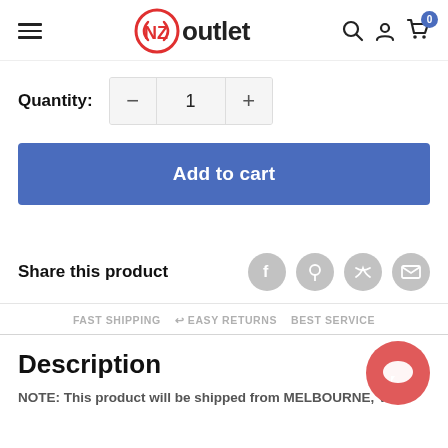NZoutlet — navigation bar with hamburger menu, logo, search, account, and cart icons
Quantity: 1
[Figure (screenshot): Add to cart blue button]
Share this product
FAST SHIPPING ↩ EASY RETURNS BEST SERVICE
Description
NOTE: This product will be shipped from MELBOURNE, VIC